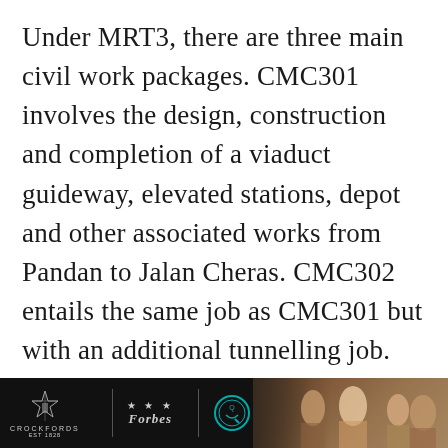Under MRT3, there are three main civil work packages. CMC301 involves the design, construction and completion of a viaduct guideway, elevated stations, depot and other associated works from Pandan to Jalan Cheras. CMC302 entails the same job as CMC301 but with an additional tunnelling job. The package stretches between Jalan Cheras and Pantai Dalam, and Jalan Kuching to Pandan. CMC303 encompasses a stretch between Pantai Dalam and Jalan Kuching, where most of the tunnelling jobs will be carried out. This is the only civil works
[Figure (other): Footer bar with Crockfords logo, Forbes stars rating logo with divider, Verified badge logo, and a photo of people on the right side]